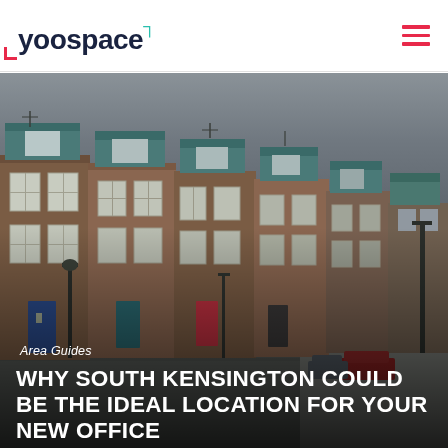[Figure (logo): Yoospace logo with teal bracket superscript and red bottom-left corner bracket]
[Figure (photo): Street view of South Kensington brick townhouses with teal dormer windows under overcast sky]
Area Guides
WHY SOUTH KENSINGTON COULD BE THE IDEAL LOCATION FOR YOUR NEW OFFICE